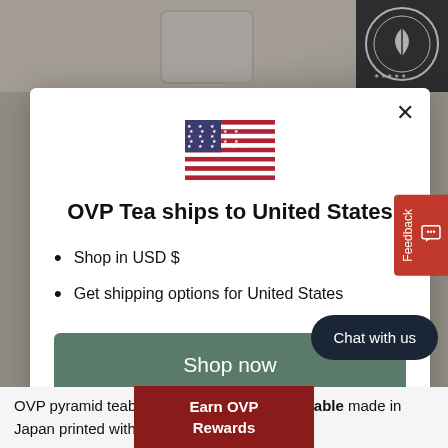[Figure (screenshot): Website modal popup for OVP Tea shipping to United States. Contains a US flag icon, title text, bullet points, a Shop now button, and a Change shipping country link. Also shows a red Feedback tab on the right, a dark Chat with us button, and a red Earn OVP Rewards banner at the bottom.]
OVP Tea ships to United States
Shop in USD $
Get shipping options for United States
Shop now
Change shipping country
Feedback
Chat with us
Earn OVP Rewards
OVP pyramid teabags are biodegradable made in Japan printed with